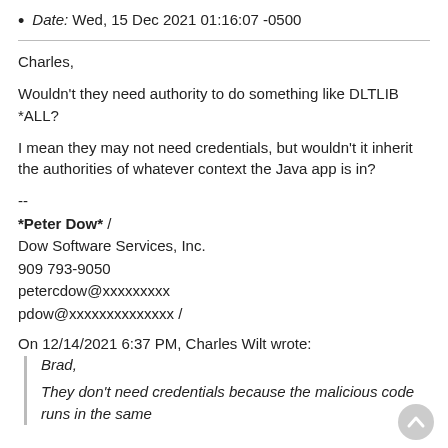Date: Wed, 15 Dec 2021 01:16:07 -0500
Charles,
Wouldn't they need authority to do something like DLTLIB *ALL?
I mean they may not need credentials, but wouldn't it inherit the authorities of whatever context the Java app is in?
--
*Peter Dow* /
Dow Software Services, Inc.
909 793-9050
petercdow@xxxxxxxxx
pdow@xxxxxxxxxxxxxx /
On 12/14/2021 6:37 PM, Charles Wilt wrote:
Brad,
They don't need credentials because the malicious code runs in the same